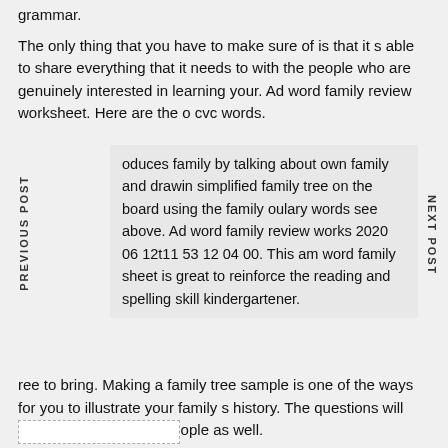grammar.
The only thing that you have to make sure of is that it s able to share everything that it needs to with the people who are genuinely interested in learning your. Ad word family review worksheet. Here are the o cvc words.
oduces family by talking about own family and drawing simplified family tree on the board using the family oulary words see above. Ad word family review works 2020 06 12t11 53 12 04 00. This am word family sheet is great to reinforce the reading and spelling skill kindergartener.
ree to bring. Making a family tree sample is one of the ways for you to illustrate your family s history. The questions will apply to non religious people as well.